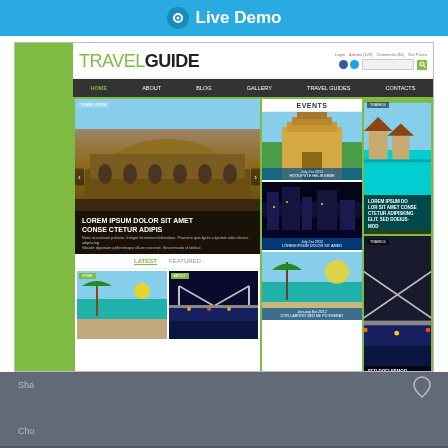[Figure (screenshot): Live Demo button bar in blue at top]
[Figure (screenshot): Screenshot of TravelGuide website template showing header with logo, navigation bar with HOME ABOUT BLOG GALLERY TRAVEL GUIDES CONTACTS, main content with hero image of Colosseum with LOREM IPSUM DOLOR SIT AMET CONSE CTETUR ADIPIS text overlay, EVENTS section with travel photos, and sidebar with travel images and LOREM IPSUM DO LOR SIT AMET CONSE CTETUR ADIPISCING ELIT SED DOEIUS MOD text]
We're using our own and third-party cookies to improve your experience and our website. Keep on browsing to accept our cookie policy.
Accept